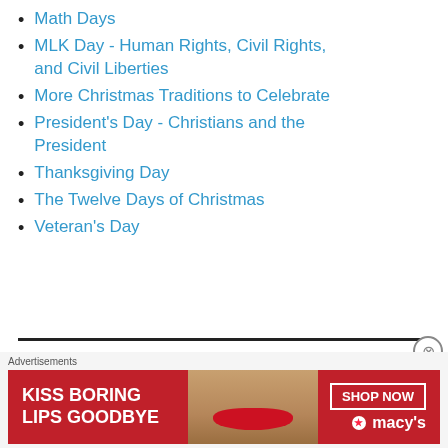Math Days
MLK Day - Human Rights, Civil Rights, and Civil Liberties
More Christmas Traditions to Celebrate
President's Day - Christians and the President
Thanksgiving Day
The Twelve Days of Christmas
Veteran's Day
Music and the Arts
[Figure (photo): Advertisement banner: KISS BORING LIPS GOODBYE - SHOP NOW - macys logo with star, red background with woman's face]